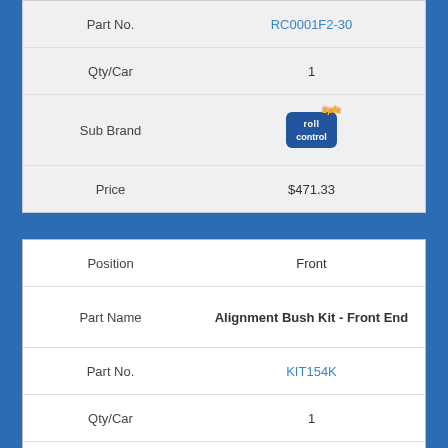| Field | Value |
| --- | --- |
| Part No. | RC0001F2-30 |
| Qty/Car | 1 |
| Sub Brand | [Roll Control logo] |
| Price | $471.33 |
| Field | Value |
| --- | --- |
| Position | Front |
| Part Name | Alignment Bush Kit - Front End |
| Part No. | KIT154K |
| Qty/Car | 1 |
| Sub Brand | [Handlekits logo] |
| Price | $458.69 |